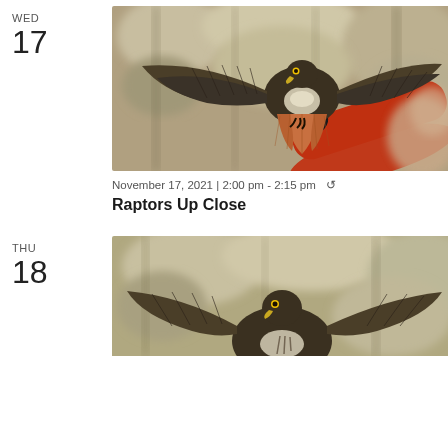WED
17
[Figure (photo): A red-tailed hawk with wings spread wide, held on a gloved hand by a person in a red jacket, with a blurred natural background.]
November 17, 2021 | 2:00 pm - 2:15 pm ↺
Raptors Up Close
THU
18
[Figure (photo): A raptor bird with wings spread, similar hawk species, partial view from below, with blurred natural background.]